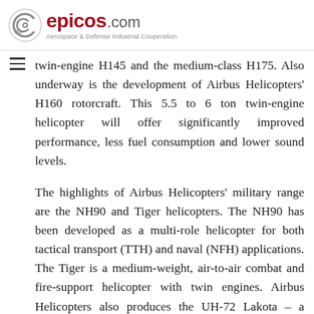epicos.com — Aerospace & Defense Industrial Cooperation
twin-engine H145 and the medium-class H175. Also underway is the development of Airbus Helicopters' H160 rotorcraft. This 5.5 to 6 ton twin-engine helicopter will offer significantly improved performance, less fuel consumption and lower sound levels.
The highlights of Airbus Helicopters' military range are the NH90 and Tiger helicopters. The NH90 has been developed as a multi-role helicopter for both tactical transport (TTH) and naval (NFH) applications. The Tiger is a medium-weight, air-to-air combat and fire-support helicopter with twin engines. Airbus Helicopters also produces the UH-72 Lakota – a militarised version of the EC145 – for the US Army's Light Utility Helicopter (LUH) programme.